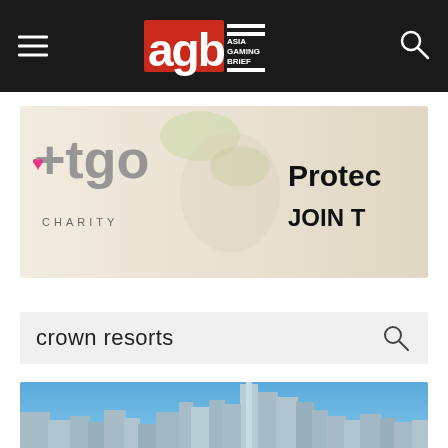Asia Gaming Brief (AGB) — navigation header with hamburger menu, logo, and search icon
[Figure (illustration): Banner advertisement for TGO Charity featuring a leopard, clownfish, and butterfly illustration with text 'Protect' and 'JOIN T']
crown resorts
[Figure (photo): City skyline photograph showing Brisbane or similar Australian city with tall skyscrapers against a blue sky]